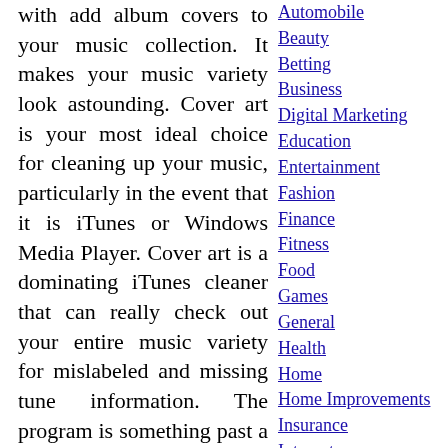with add album covers to your music collection. It makes your music variety look astounding. Cover art is your most ideal choice for cleaning up your music, particularly in the event that it is iTunes or Windows Media Player. Cover art is a dominating iTunes cleaner that can really check out your entire music variety for mislabeled and missing tune information. The program is something past a cleaner, it can discover album art, wipe out duplicates, and can get you information on show cautions. The principal,
Automobile
Beauty
Betting
Business
Digital Marketing
Education
Entertainment
Fashion
Finance
Fitness
Food
Games
General
Health
Home
Home Improvements
Insurance
Internet